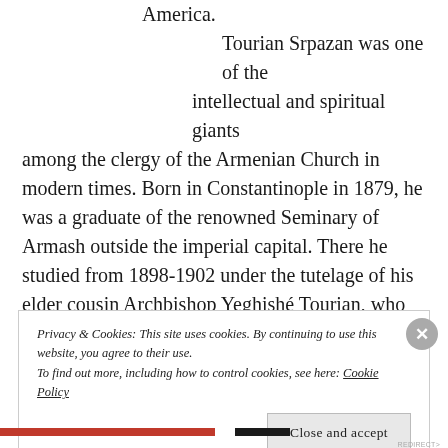America. Tourian Srpazan was one of the intellectual and spiritual giants among the clergy of the Armenian Church in modern times. Born in Constantinople in 1879, he was a graduate of the renowned Seminary of Armash outside the imperial capital. There he studied from 1898-1902 under the tutelage of his elder cousin Archbishop Yeghishé Tourian, who would later become Armenian Patriarch of Jerusalem.
Privacy & Cookies: This site uses cookies. By continuing to use this website, you agree to their use. To find out more, including how to control cookies, see here: Cookie Policy
Close and accept